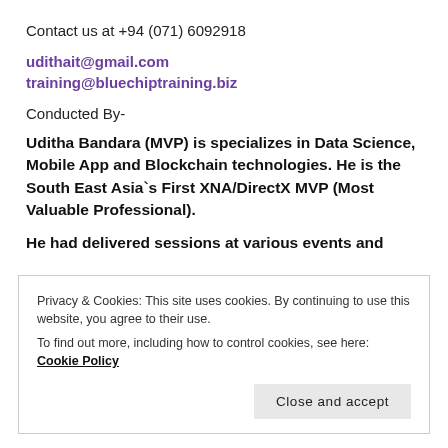Contact us at +94 (071) 6092918
udithait@gmail.com
training@bluechiptraining.biz
Conducted By-
Uditha Bandara (MVP) is specializes in Data Science, Mobile App and Blockchain technologies. He is the South East Asia`s First XNA/DirectX MVP (Most Valuable Professional).
He had delivered sessions at various events and
Privacy & Cookies: This site uses cookies. By continuing to use this website, you agree to their use.
To find out more, including how to control cookies, see here: Cookie Policy
Close and accept